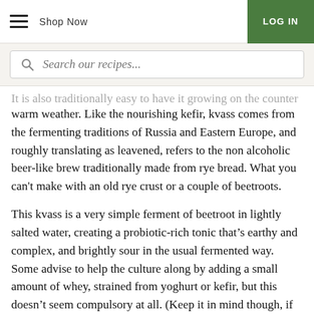Shop Now | LOG IN
Search our recipes...
It is also traditionally easy to have it growing on the counter in this warm weather. Like the nourishing kefir, kvass comes from the fermenting traditions of Russia and Eastern Europe, and roughly translating as leavened, refers to the non alcoholic beer-like brew traditionally made from rye bread. What you can't make with an old rye crust or a couple of beetroots.
This kvass is a very simple ferment of beetroot in lightly salted water, creating a probiotic-rich tonic that’s earthy and complex, and brightly sour in the usual fermented way. Some advise to help the culture along by adding a small amount of whey, strained from yoghurt or kefir, but this doesn’t seem compulsory at all. (Keep it in mind though, if you are experimenting!). The simple mix can take as little as a fews days to a week in Summer before it develops that bubbly tang, or a month or two in the depths of Winter. As well as ambient temperature, the speed of the process depends on other factors like the levels of sugar, and